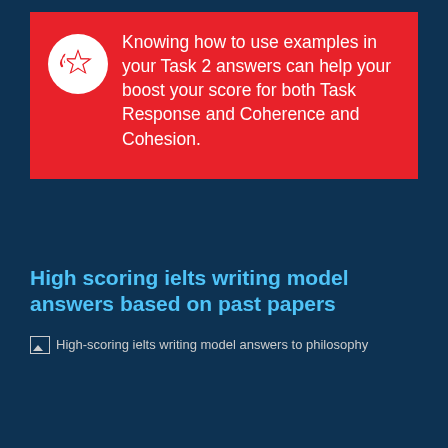Knowing how to use examples in your Task 2 answers can help your boost your score for both Task Response and Coherence and Cohesion.
High scoring ielts writing model answers based on past papers
[Figure (other): Broken image placeholder with alt text: High-scoring ielts writing model answers to philosophy]